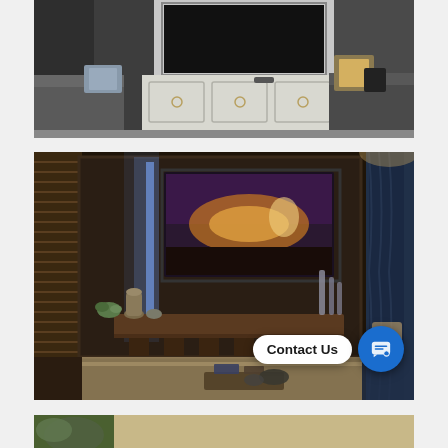[Figure (photo): Home theater or media room interior with dark gray walls, light-colored built-in TV cabinet with paneled doors and metal ring handles, large black TV screen embedded in white alcove, two gray upholstered sofas/chairs with decorative pillows (one metallic gold patterned, one silver/blue).]
[Figure (photo): Dark luxury living room with wood-paneled accent wall, large flat-screen TV displaying a colorful landscape scene, LED backlighting strip creating blue-white glow on left side of TV panel, floating dark wood media console shelf with decorative items (ceramic vase, succulent plants, stones), wooden blind window on left, blue curtained window on right, decorative tall glass vases. A 'Contact Us' chat widget button visible in the lower-right corner overlay.]
[Figure (photo): Partial view of a third interior design photo at the bottom of the page, cropped — appears to show green foliage/plant and a lighter interior.]